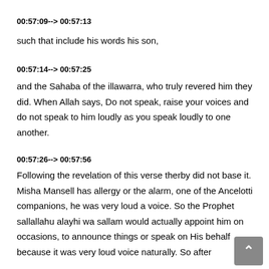00:57:09--> 00:57:13
such that include his words his son,
00:57:14--> 00:57:25
and the Sahaba of the illawarra, who truly revered him they did. When Allah says, Do not speak, raise your voices and do not speak to him loudly as you speak loudly to one another.
00:57:26--> 00:57:56
Following the revelation of this verse therby did not base it. Misha Mansell has allergy or the alarm, one of the Ancelotti companions, he was very loud a voice. So the Prophet sallallahu alayhi wa sallam would actually appoint him on occasions, to announce things or speak on His behalf because it was very loud voice naturally. So after